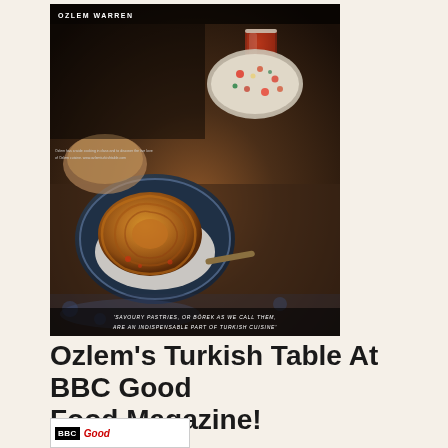[Figure (photo): Book cover of 'Ozlem Warren' featuring a food photograph of Turkish börek (savoury pastry) on a dark plate, with a salad bowl and tea glass in the background on a decorated table. Caption reads: 'SAVOURY PASTRIES, OR BÖREK AS WE CALL THEM, ARE AN INDISPENSABLE PART OF TURKISH CUISINE']
Ozlem's Turkish Table At BBC Good Food Magazine!
[Figure (photo): Bottom of BBC Good Food Magazine strip/logo partially visible]